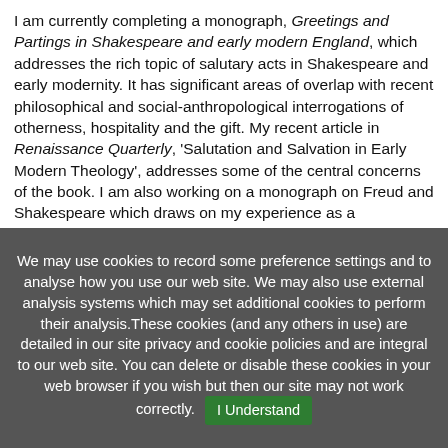I am currently completing a monograph, Greetings and Partings in Shakespeare and early modern England, which addresses the rich topic of salutary acts in Shakespeare and early modernity. It has significant areas of overlap with recent philosophical and social-anthropological interrogations of otherness, hospitality and the gift. My recent article in Renaissance Quarterly, 'Salutation and Salvation in Early Modern Theology', addresses some of the central concerns of the book. I am also working on a monograph on Freud and Shakespeare which draws on my experience as a
We may use cookies to record some preference settings and to analyse how you use our web site. We may also use external analysis systems which may set additional cookies to perform their analysis.These cookies (and any others in use) are detailed in our site privacy and cookie policies and are integral to our web site. You can delete or disable these cookies in your web browser if you wish but then our site may not work correctly. I Understand